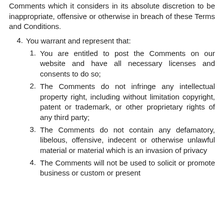Comments which it considers in its absolute discretion to be inappropriate, offensive or otherwise in breach of these Terms and Conditions.
4. You warrant and represent that:
1. You are entitled to post the Comments on our website and have all necessary licenses and consents to do so;
2. The Comments do not infringe any intellectual property right, including without limitation copyright, patent or trademark, or other proprietary rights of any third party;
3. The Comments do not contain any defamatory, libelous, offensive, indecent or otherwise unlawful material or material which is an invasion of privacy
4. The Comments will not be used to solicit or promote business or custom or present